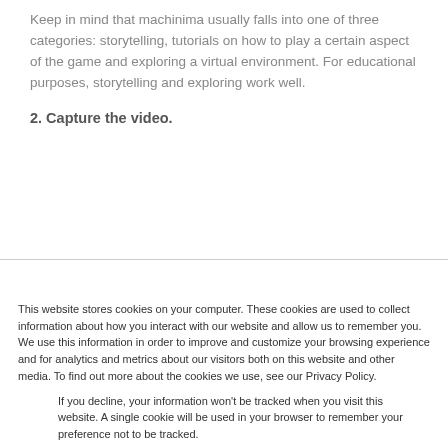Keep in mind that machinima usually falls into one of three categories: storytelling, tutorials on how to play a certain aspect of the game and exploring a virtual environment. For educational purposes, storytelling and exploring work well.
2. Capture the video.
This website stores cookies on your computer. These cookies are used to collect information about how you interact with our website and allow us to remember you. We use this information in order to improve and customize your browsing experience and for analytics and metrics about our visitors both on this website and other media. To find out more about the cookies we use, see our Privacy Policy.
If you decline, your information won't be tracked when you visit this website. A single cookie will be used in your browser to remember your preference not to be tracked.